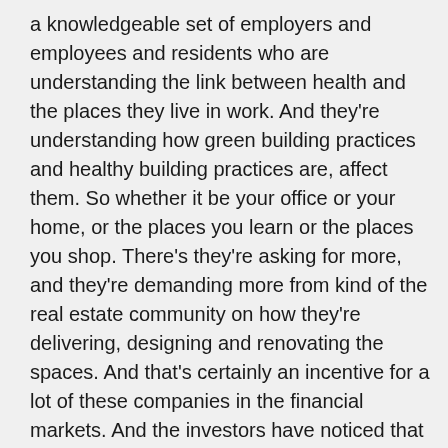a knowledgeable set of employers and employees and residents who are understanding the link between health and the places they live in work. And they're understanding how green building practices and healthy building practices are, affect them. So whether it be your office or your home, or the places you learn or the places you shop. There's they're asking for more, and they're demanding more from kind of the real estate community on how they're delivering, designing and renovating the spaces. And that's certainly an incentive for a lot of these companies in the financial markets. And the investors have noticed that and they've taken into account in their own kind of scopes, you know, how do we ensure the stability of our assets, and they're saying they have to be kind of looking at their environmental impact,